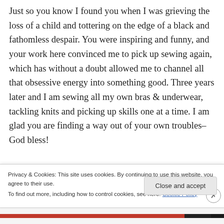Just so you know I found you when I was grieving the loss of a child and tottering on the edge of a black and fathomless despair. You were inspiring and funny, and your work here convinced me to pick up sewing again, which has without a doubt allowed me to channel all that obsessive energy into something good. Three years later and I am sewing all my own bras & underwear, tackling knits and picking up skills one at a time. I am glad you are finding a way out of your own troubles–God bless!
Privacy & Cookies: This site uses cookies. By continuing to use this website, you agree to their use. To find out more, including how to control cookies, see here: Cookie Policy
Close and accept